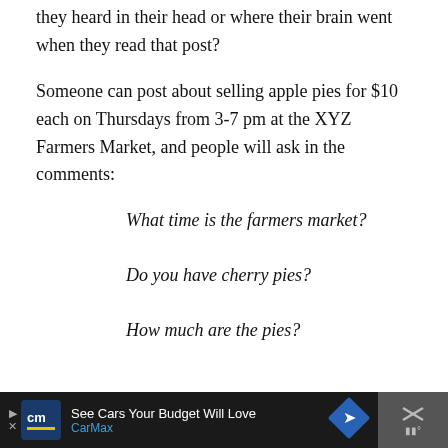they heard in their head or where their brain went when they read that post?
Someone can post about selling apple pies for $10 each on Thursdays from 3-7 pm at the XYZ Farmers Market, and people will ask in the comments:
What time is the farmers market?
Do you have cherry pies?
How much are the pies?
[Figure (other): Advertisement bar at bottom: CarMax ad — See Cars Your Budget Will Love, with CarMax logo, blue diamond navigation icon, and close button with X icon and mute symbol]